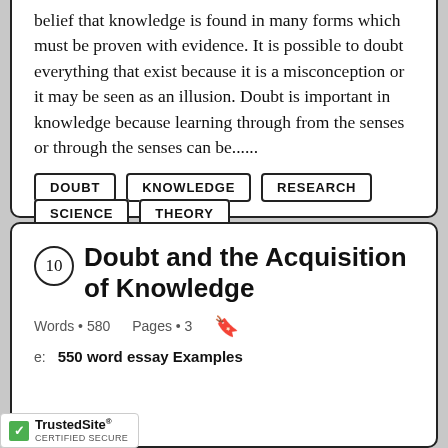belief that knowledge is found in many forms which must be proven with evidence. It is possible to doubt everything that exist because it is a misconception or it may be seen as an illusion. Doubt is important in knowledge because learning through from the senses or through the senses can be......
DOUBT
KNOWLEDGE
RESEARCH
SCIENCE
THEORY
10 Doubt and the Acquisition of Knowledge
Words • 580    Pages • 3
550 word essay Examples